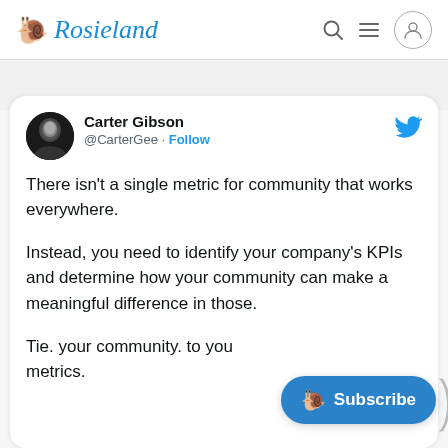Rosieland
[Figure (screenshot): Tweet by Carter Gibson (@CarterGee) with Twitter bird icon. Text: There isn't a single metric for community that works everywhere. Instead, you need to identify your company's KPIs and determine how your community can make a meaningful difference in those. Tie. your community. to your metrics.]
There isn't a single metric for community that works everywhere.

Instead, you need to identify your company's KPIs and determine how your community can make a meaningful difference in those.

Tie. your community. to your metrics.